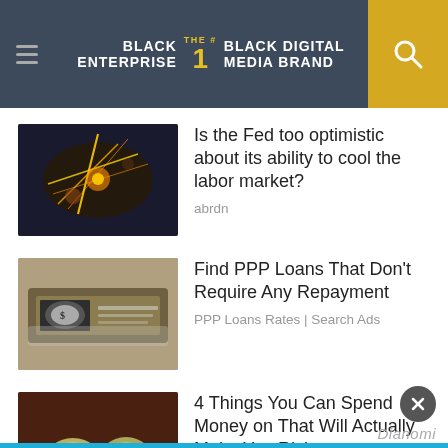BLACK ENTERPRISE THE #1 BLACK DIGITAL MEDIA BRAND
[Figure (photo): Abstract glowing yellow-orange light strands with dark background]
Is the Fed too optimistic about its ability to cool the labor market?
abrdn
[Figure (photo): Stack of US dollar bills with a checkbook]
Find PPP Loans That Don't Require Any Repayment
PPP Loans Rates | Search Ads
[Figure (photo): Crumpled dollar bills shaped like fruit on a table]
4 Things You Can Spend Money on That Will Actually Make You Richer
The Penny Hoarder
Dianomi